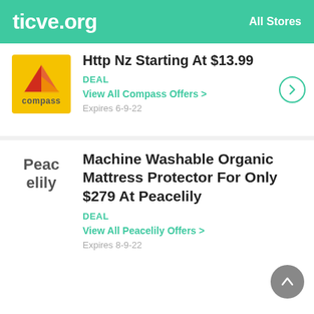ticve.org   All Stores
Http Nz Starting At $13.99
DEAL
View All Compass Offers >
Expires 6-9-22
Machine Washable Organic Mattress Protector For Only $279 At Peacelily
DEAL
View All Peacelily Offers >
Expires 8-9-22